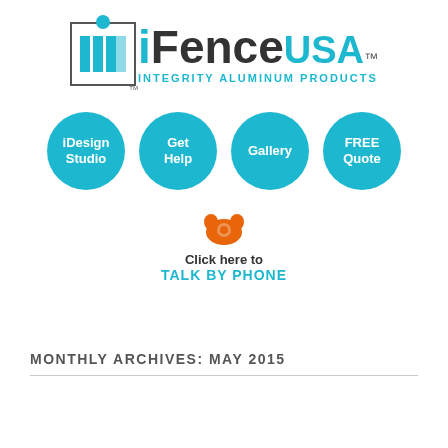[Figure (logo): iFenceUSA logo with teal letter i, fence graphic in box, and tagline iNTEGRITY ALUMINUM PRODUCTS]
[Figure (infographic): Four teal circular navigation buttons: iDesign Studio, Get Help, Gallery, FREE Quote]
[Figure (infographic): Orange telephone icon with text Click here to TALK BY PHONE]
MONTHLY ARCHIVES: MAY 2015